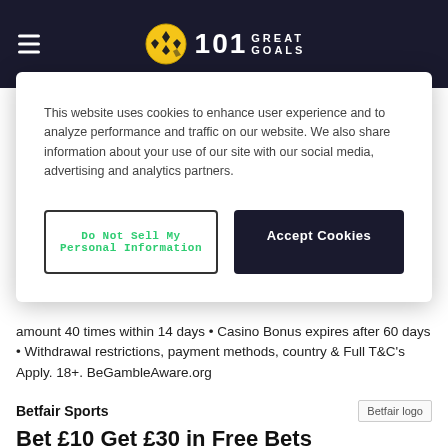101 Great Goals
This website uses cookies to enhance user experience and to analyze performance and traffic on our website. We also share information about your use of our site with our social media, advertising and analytics partners.
Do Not Sell My Personal Information | Accept Cookies
amount 40 times within 14 days • Casino Bonus expires after 60 days • Withdrawal restrictions, payment methods, country & Full T&C's Apply. 18+. BeGambleAware.org
Betfair Sports
Bet £10 Get £30 in Free Bets
Claim Offer
Place a min £10 bet on the Sportsbook on odds of min 1/2 (1.5), get £30 in Free